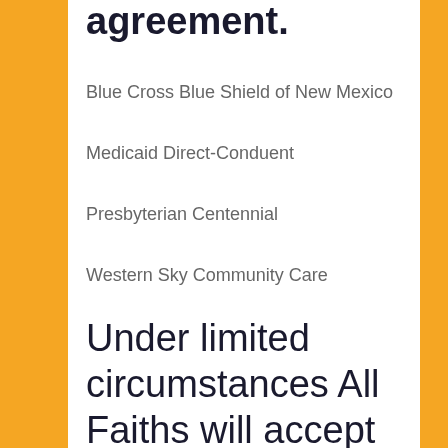agreement.
Blue Cross Blue Shield of New Mexico
Medicaid Direct-Conduent
Presbyterian Centennial
Western Sky Community Care
Under limited circumstances All Faiths will accept the following primary insurance options: